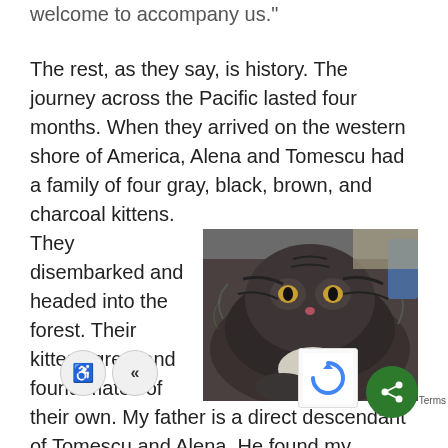welcome to accompany us."
The rest, as they say, is history. The journey across the Pacific lasted four months. When they arrived on the western shore of America, Alena and Tomescu had a family of four gray, black, brown, and charcoal kittens. They disembarked and headed into the forest. Their kittens grew and found mates of their own. My father is a direct descendant of Tomescu and Alena. He found my mother five years ago. I was born just a few miles from here and a few months later I was adopted by my first human. She ran a restaurant, and
[Figure (photo): A fluffy, long-haired cat (dark tabby coloring, gray, black, and brown) lying down, looking at the camera with a relaxed expression.]